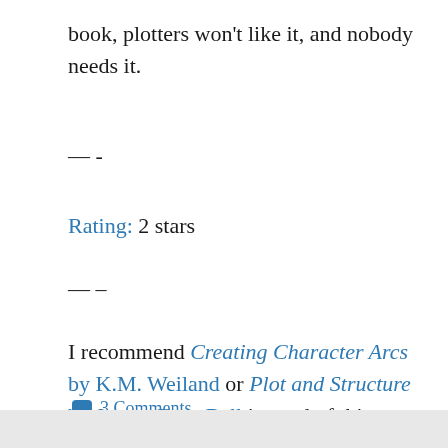book, plotters won't like it, and nobody needs it.
— -
Rating: 2 stars
— –
I recommend Creating Character Arcs by K.M. Weiland or Plot and Structure by James Scott Bell instead of this book.
3 Comments